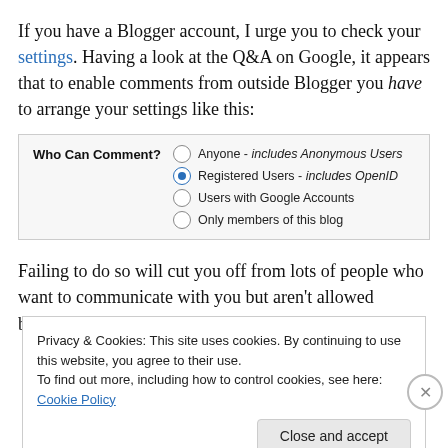If you have a Blogger account, I urge you to check your settings. Having a look at the Q&A on Google, it appears that to enable comments from outside Blogger you have to arrange your settings like this:
[Figure (screenshot): Blogger settings UI showing 'Who Can Comment?' with radio buttons: Anyone - includes Anonymous Users, Registered Users - includes OpenID (selected), Users with Google Accounts, Only members of this blog]
Failing to do so will cut you off from lots of people who want to communicate with you but aren't allowed because
Privacy & Cookies: This site uses cookies. By continuing to use this website, you agree to their use. To find out more, including how to control cookies, see here: Cookie Policy
Close and accept